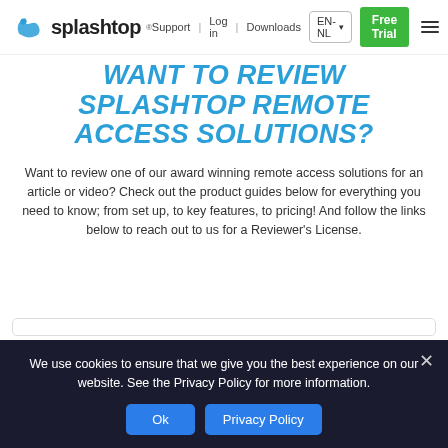Support | Log in | Downloads | EN-NL
[Figure (logo): Splashtop logo with blue splash icon and bold 'splashtop' wordmark]
WANT TO REVIEW SPLASHTOP REMOTE ACCESS SOLUTIONS?
Want to review one of our award winning remote access solutions for an article or video? Check out the product guides below for everything you need to know; from set up, to key features, to pricing! And follow the links below to reach out to us for a Reviewer's License.
We use cookies to ensure that we give you the best experience on our website. See the Privacy Policy for more information.